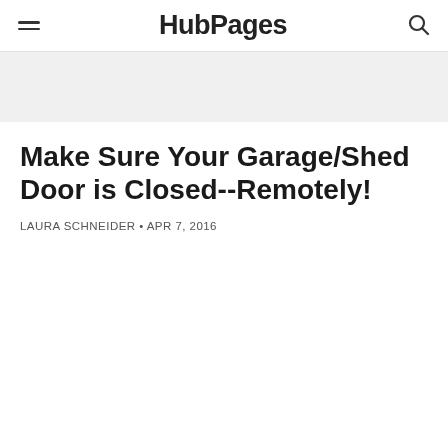HubPages
Make Sure Your Garage/Shed Door is Closed--Remotely!
LAURA SCHNEIDER • APR 7, 2016